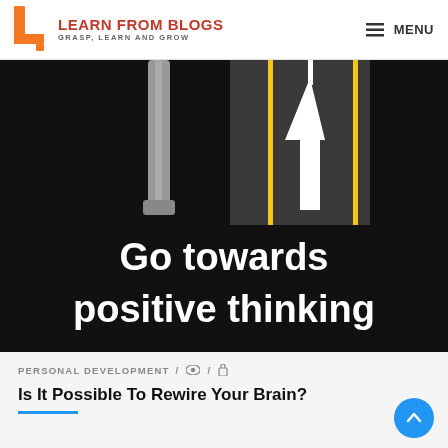LEARN FROM BLOGS — GRASP, LEARN AND GROW | MENU
[Figure (illustration): Black background illustration showing a road with yellow lane stripes and a white upward-pointing arrow, alongside a grey pillar/post on the left. Text reads 'Go towards positive thinking' in white bold font.]
PERSONAL DEVELOPMENT / 👁 / 🔒
Is It Possible To Rewire Your Brain?